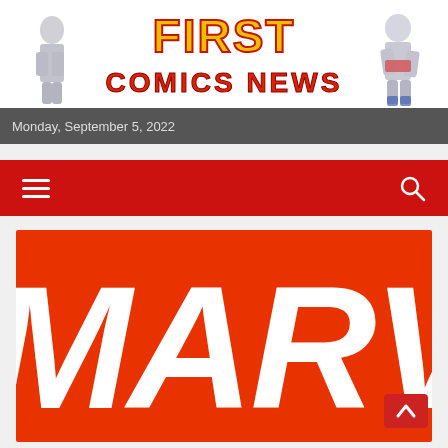[Figure (logo): First Comics News website header banner with 'FIRST COMICS NEWS' text in yellow/orange letters and comic superhero characters on both sides]
Monday, September 5, 2022
[Figure (screenshot): Red navigation bar with hamburger menu icon on left and search icon on right]
[Figure (logo): Marvel logo - large white italic text 'MARVEL' on bright red/orange background, partially cropped showing 'ARVE']